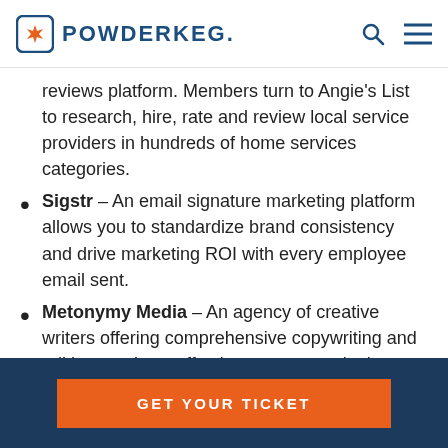POWDERKEG.
reviews platform. Members turn to Angie's List to research, hire, rate and review local service providers in hundreds of home services categories.
Sigstr – An email signature marketing platform allows you to standardize brand consistency and drive marketing ROI with every employee email sent.
Metonymy Media – An agency of creative writers offering comprehensive copywriting and editing services, effective content marketing strategies, and educational
GET YOUR TICKET